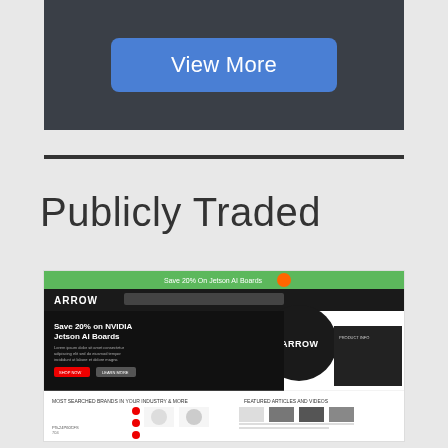[Figure (screenshot): Dark banner with a blue 'View More' button centered on it]
Publicly Traded
[Figure (screenshot): Screenshot of Arrow Electronics website showing 'Save 20% on NVIDIA Jetson AI Boards' promotion with Arrow logo and product listings]